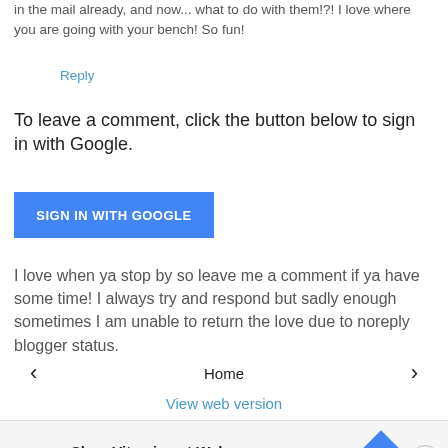in the mail already, and now... what to do with them!?! I love where you are going with your bench! So fun!
Reply
To leave a comment, click the button below to sign in with Google.
[Figure (other): Blue 'SIGN IN WITH GOOGLE' button]
I love when ya stop by so leave me a comment if ya have some time! I always try and respond but sadly enough sometimes I am unable to return the love due to noreply blogger status.
‹  Home  ›
View web version
[Figure (other): Walgreens advertisement banner: Shop Vitamins at Walgreens, Walgreens Photo]